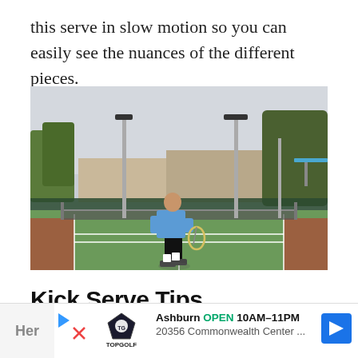this serve in slow motion so you can easily see the nuances of the different pieces.
[Figure (photo): Tennis player in blue shirt and black shorts standing on a green hard court, holding a racket, viewed from behind. Court has a net, surrounding fence, light poles, trees and buildings in the background.]
Kick Serve Tips
Ashburn OPEN 10AM–11PM 20356 Commonwealth Center ...